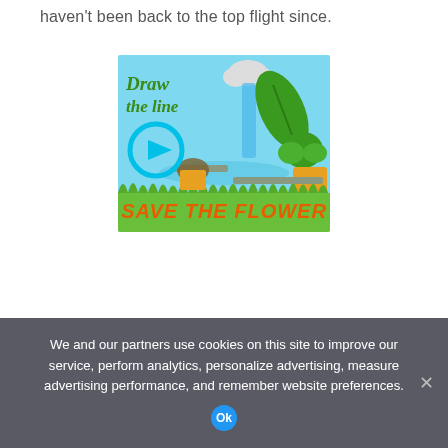haven't been back to the top flight since.
[Figure (illustration): Animated game advertisement for 'Save the Flower / Draw the Line' game showing cartoon plants, a watering cloud, play button, and grass ground with orange bold italic text 'SAVE THE FLOWER' at the bottom.]
We and our partners use cookies on this site to improve our service, perform analytics, personalize advertising, measure advertising performance, and remember website preferences.